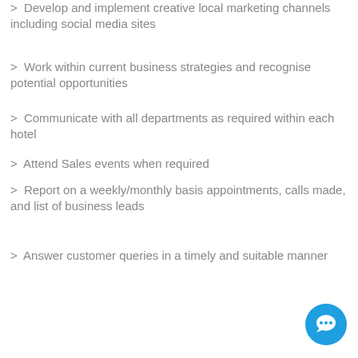Develop and implement creative local marketing channels including social media sites
Work within current business strategies and recognise potential opportunities
Communicate with all departments as required within each hotel
Attend Sales events when required
Report on a weekly/monthly basis appointments, calls made, and list of business leads
Answer customer queries in a timely and suitable manner
[Figure (illustration): Blue circular chat/messaging button icon in the bottom right corner]